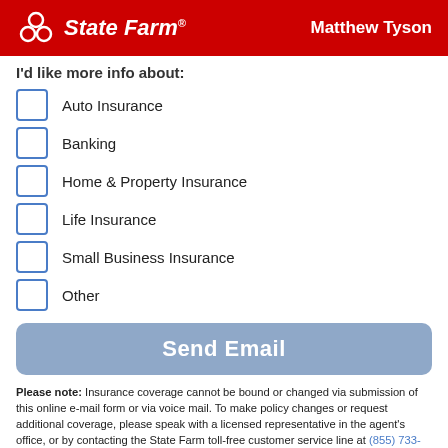State Farm | Matthew Tyson
I'd like more info about:
Auto Insurance
Banking
Home & Property Insurance
Life Insurance
Small Business Insurance
Other
Send Email
Please note: Insurance coverage cannot be bound or changed via submission of this online e-mail form or via voice mail. To make policy changes or request additional coverage, please speak with a licensed representative in the agent's office, or by contacting the State Farm toll-free customer service line at (855) 733-7333 .
By filling out the form, you are providing express consent by electronic signature that you may be contacted by telephone (via call and/or text messages) and/or email for marketing purposes by State Farm Mutual Automobile Insurance